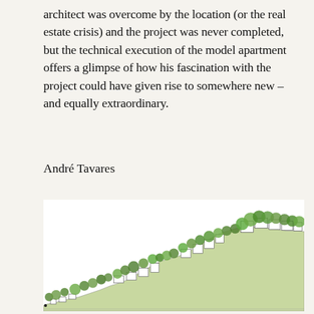architect was overcome by the location (or the real estate crisis) and the project was never completed, but the technical execution of the model apartment offers a glimpse of how his fascination with the project could have given rise to somewhere new – and equally extraordinary.
André Tavares
[Figure (illustration): Architectural elevation drawing showing a hillside development with stepped buildings integrated into a sloping landscape, with trees and vegetation shown in green throughout the composition.]